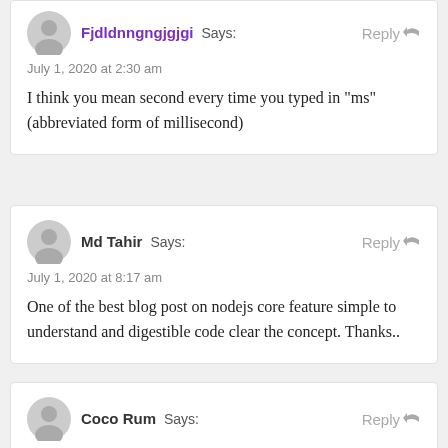Fjdldnngngjgjgi Says: July 1, 2020 at 2:30 am
I think you mean second every time you typed in "ms"(abbreviated form of millisecond)
Md Tahir Says: July 1, 2020 at 8:17 am
One of the best blog post on nodejs core feature simple to understand and digestible code clear the concept. Thanks..
Coco Rum Says: